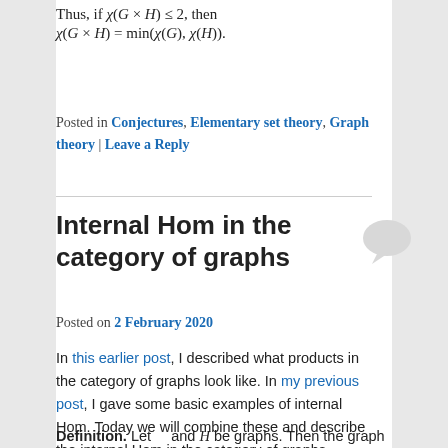colouring since C_mn doesn't.
Posted in Conjectures, Elementary set theory, Graph theory | Leave a Reply
Internal Hom in the category of graphs
Posted on 2 February 2020
In this earlier post, I described what products in the category of graphs look like. In my previous post, I gave some basic examples of internal Hom. Today we will combine these and describe the internal Hom in the category of graphs.
Definition. Let   and H be graphs. Then the graph